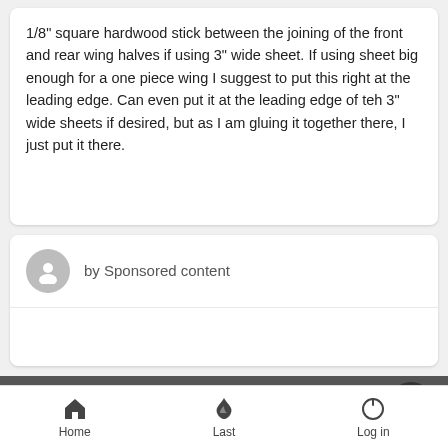1/8" square hardwood stick between the joining of the front and rear wing halves if using 3" wide sheet. If using sheet big enough for a one piece wing I suggest to put this right at the leading edge. Can even put it at the leading edge of teh 3" wide sheets if desired, but as I am gluing it together there, I just put it there.
by Sponsored content
Similar topics
Sterling Beginners Ringmaster Bipe
Home  Last  Log in